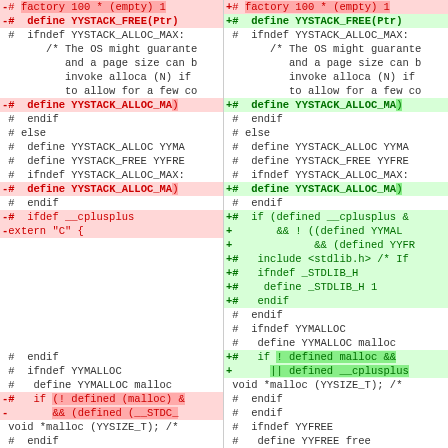[Figure (screenshot): Diff view of source code showing two columns: left (deletions in red) and right (additions in green). Code is C preprocessor directives related to YYSTACK memory allocation.]